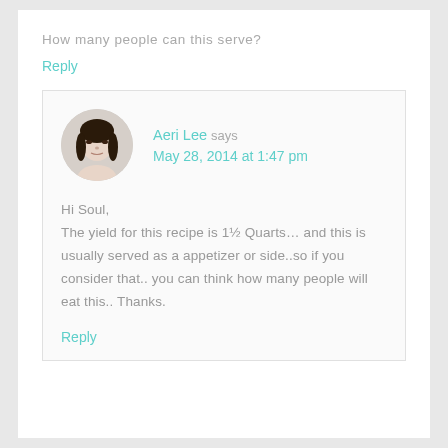How many people can this serve?
Reply
[Figure (photo): Circular avatar photo of Aeri Lee, a young Asian woman with dark hair]
Aeri Lee says
May 28, 2014 at 1:47 pm
Hi Soul,
The yield for this recipe is 1½ Quarts… and this is usually served as a appetizer or side..so if you consider that.. you can think how many people will eat this.. Thanks.
Reply